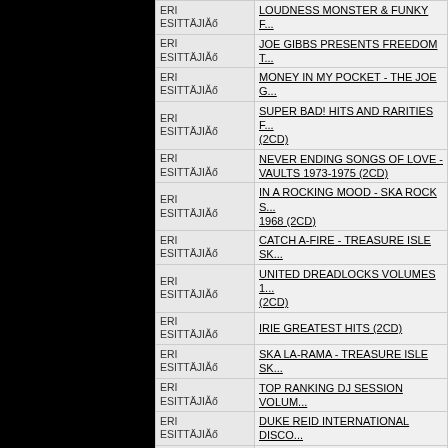| Esittäjä | Title |
| --- | --- |
| ERI ESITTÄJIĂő | LOUDNESS MONSTER & FUNKY F... |
| ERI ESITTÄJIĂő | JOE GIBBS PRESENTS FREEDOM T... |
| ERI ESITTÄJIĂő | MONEY IN MY POCKET - THE JOE G... |
| ERI ESITTÄJIĂő | SUPER BAD! HITS AND RARITIES F... (2CD) |
| ERI ESITTÄJIĂő | NEVER ENDING SONGS OF LOVE - VAULTS 1973-1975 (2CD) |
| ERI ESITTÄJIĂő | IN A ROCKING MOOD - SKA ROCK S... 1968 (2CD) |
| ERI ESITTÄJIĂő | CATCH A-FIRE - TREASURE ISLE SK... |
| ERI ESITTÄJIĂő | UNITED DREADLOCKS VOLUMES 1... (2CD) |
| ERI ESITTÄJIĂő | IRIE GREATEST HITS (2CD) |
| ERI ESITTÄJIĂő | SKA LA-RAMA - TREASURE ISLE SK... |
| ERI ESITTÄJIĂő | TOP RANKING DJ SESSION VOLUM... |
| ERI ESITTÄJIĂő | DUKE REID INTERNATIONAL DISCO... |
| ERI ESITTÄJIĂő | TREASURE ISLE PRESENTS THE H... |
| ERI ESITTÄJIĂő | STRAIGHT TO THE HEAD (CD) |
| ERI ESITTÄJIĂő | THE BEST OF REGGAE: EXPANDED... |
| ERI ESITTÄJIĂő | SEVENTIES EURO CLASSICS * (LP) |
| ERI ESITTÄJIĂő | GARY CROWLEY - LOST 80S * (3LP) |
| ERI ESITTÄJIĂő | THE WORLD WE LIVE IN - HOLLAND... |
| ERI ESITTÄJIĂő | R&R DISCO (3LP) |